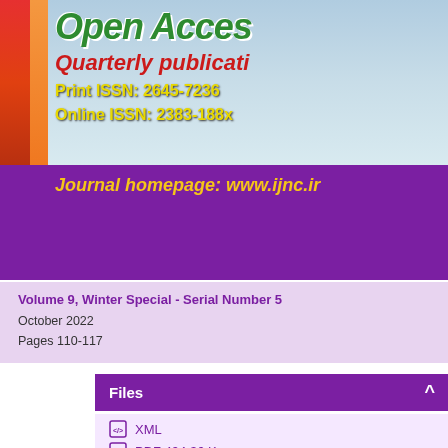[Figure (illustration): Open Access journal banner with globe background, red/orange left stripe, green 'Open Access' title, red italic 'Quarterly publicati...' subtitle, yellow ISSN lines 'Print ISSN: 2645-7236' and 'Online ISSN: 2383-188x', and purple band below with yellow italic 'Journal homepage: www.ijnc.ir' text]
Volume 9, Winter Special - Serial Number 5
October 2022
Pages 110-117
Files
XML
PDF 494.36 K